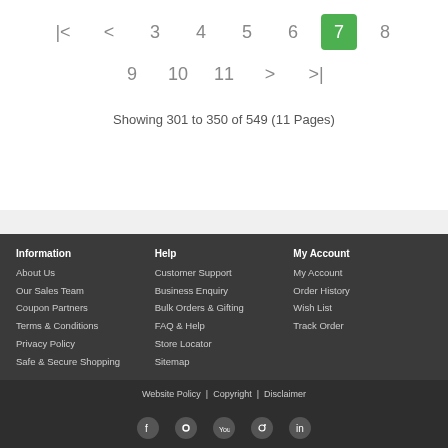|< < 3 4 5 6 7 8 9 10 11 > >|
Showing 301 to 350 of 549 (11 Pages)
Information
About Us
Our Sales Team
Coupon Partners
Terms & Conditions
Privacy Policy
Safe & Secure Shopping
Help
Customer Support
Business Enquiry
Bulk Orders & Gifting
FAQ & Help
Store Locator
Sitemap
My Account
My Account
Order History
Wish List
Track Order
Website Policy | Copyright | Disclaimer